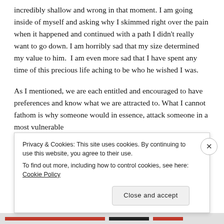incredibly shallow and wrong in that moment. I am going inside of myself and asking why I skimmed right over the pain when it happened and continued with a path I didn't really want to go down. I am horribly sad that my size determined my value to him. I am even more sad that I have spent any time of this precious life aching to be who he wished I was.
As I mentioned, we are each entitled and encouraged to have preferences and know what we are attracted to. What I cannot fathom is why someone would in essence, attack someone in a most vulnerable
Privacy & Cookies: This site uses cookies. By continuing to use this website, you agree to their use.
To find out more, including how to control cookies, see here: Cookie Policy